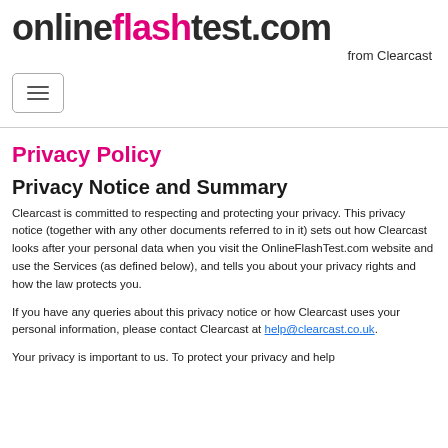[Figure (logo): onlineflashtest.com from Clearcast logo — bold dark text with 'flash' in magenta/pink]
[Figure (other): Hamburger menu navigation button with three horizontal lines inside a rounded border]
Privacy Policy
Privacy Notice and Summary
Clearcast is committed to respecting and protecting your privacy. This privacy notice (together with any other documents referred to in it) sets out how Clearcast looks after your personal data when you visit the OnlineFlashTest.com website and use the Services (as defined below), and tells you about your privacy rights and how the law protects you.
If you have any queries about this privacy notice or how Clearcast uses your personal information, please contact Clearcast at help@clearcast.co.uk.
Your privacy is important to us. To protect your privacy and help